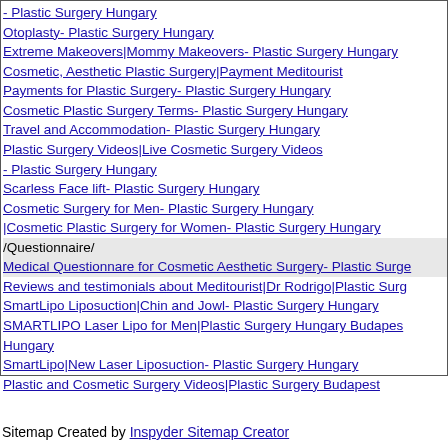- Plastic Surgery Hungary
Otoplasty- Plastic Surgery Hungary
Extreme Makeovers|Mommy Makeovers- Plastic Surgery Hungary
Cosmetic, Aesthetic Plastic Surgery|Payment Meditourist
Payments for Plastic Surgery- Plastic Surgery Hungary
Cosmetic Plastic Surgery Terms- Plastic Surgery Hungary
Travel and Accommodation- Plastic Surgery Hungary
Plastic Surgery Videos|Live Cosmetic Surgery Videos
- Plastic Surgery Hungary
Scarless Face lift- Plastic Surgery Hungary
Cosmetic Surgery for Men- Plastic Surgery Hungary
|Cosmetic Plastic Surgery for Women- Plastic Surgery Hungary
/Questionnaire/
Medical Questionnare for Cosmetic Aesthetic Surgery- Plastic Surge
Reviews and testimonials about Meditourist|Dr Rodrigo|Plastic Surg
SmartLipo Liposuction|Chin and Jowl- Plastic Surgery Hungary
SMARTLIPO Laser Lipo for Men|Plastic Surgery Hungary Budapest Hungary
SmartLipo|New Laser Liposuction- Plastic Surgery Hungary
Plastic and Cosmetic Surgery Videos|Plastic Surgery Budapest
Sitemap Created by Inspyder Sitemap Creator